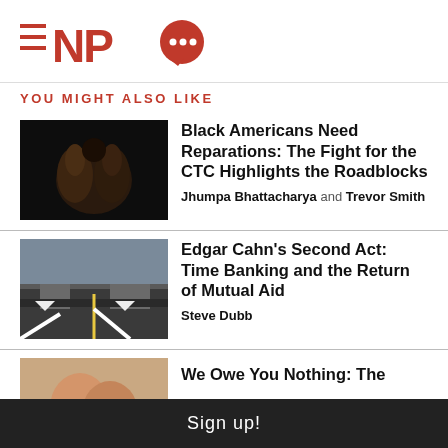[Figure (logo): NPQ logo with hamburger menu icon (three red horizontal lines), bold red NPQ text, and red speech bubble with three white dots]
YOU MIGHT ALSO LIKE
[Figure (photo): Dark photo of hands clasped/praying against a dark background]
Black Americans Need Reparations: The Fight for the CTC Highlights the Roadblocks
Jhumpa Bhattacharya and Trevor Smith
[Figure (photo): Street photo with road arrows pointing in different directions, city intersection with cars]
Edgar Cahn’s Second Act: Time Banking and the Return of Mutual Aid
Steve Dubb
[Figure (photo): Partial photo showing hands, partially cut off at bottom of page]
We Owe You Nothing: The
Sign up!